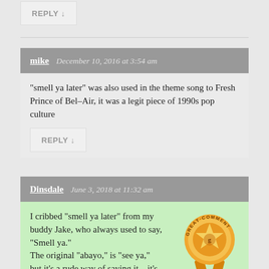REPLY ↓
mike   December 10, 2016 at 3:54 am
“smell ya later” was also used in the theme song to Fresh Prince of Bel-Air, it was a legit piece of 1990s pop culture
REPLY ↓
Dinsdale   June 3, 2018 at 11:32 am
I cribbed “smell ya later” from my buddy Jake, who always used to say, “Smell ya.” The original “abayo,” is “see ya,” but it’s a rude way of saying it—it’s arrogant and mean
[Figure (illustration): Gold star badge with text GREAT COMMENT around the border]